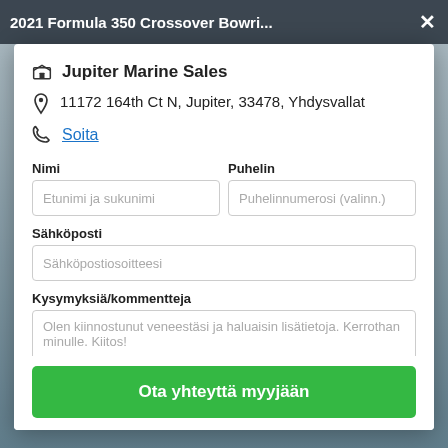2021 Formula 350 Crossover Bowri...
Jupiter Marine Sales
11172 164th Ct N, Jupiter, 33478, Yhdysvallat
Soita
Nimi
Etunimi ja sukunimi
Puhelin
Puhelinnumerosi (valinn.)
Sähköposti
Sähköpostiosoitteesi
Kysymyksiä/kommentteja
Olen kiinnostunut veneestäsi ja haluaisin lisätietoja. Kerrothan minulle. Kiitos!
Ota yhteyttä myyjään